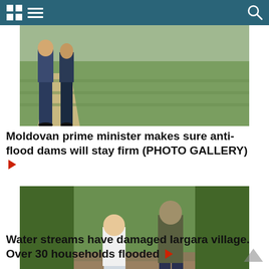Navigation bar with grid icon, menu icon, and search icon
[Figure (photo): Outdoor scene showing people standing near a grassy field and dirt path, viewed from behind. Anti-flood dam inspection photo.]
Moldovan prime minister makes sure anti-flood dams will stay firm (PHOTO GALLERY) ▶
[Figure (photo): Two people wading through flooded water in Iargara village, surrounded by green trees and shrubs on both sides. Brown muddy floodwater.]
Water streams have damaged Iargara village. Over 30 households flooded ▶